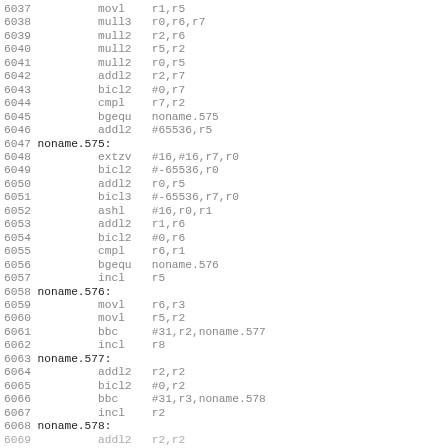Assembly code listing lines 6037-6068+, showing VAX assembly instructions with line numbers, mnemonics, and operands including labels noname.575, noname.576, noname.577, noname.578